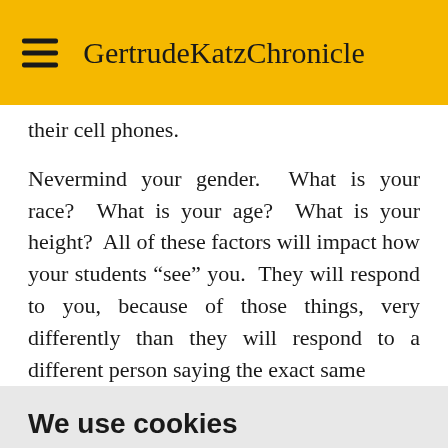GertrudeKatzChronicle
their cell phones.
Nevermind your gender.  What is your race?  What is your age?  What is your height?  All of these factors will impact how your students “see” you.  They will respond to you, because of those things, very differently than they will respond to a different person saying the exact same
We use cookies
We use cookies and other tracking technologies to improve your browsing experience on our website, to show you personalized content and targeted ads, to analyze our website traffic, and